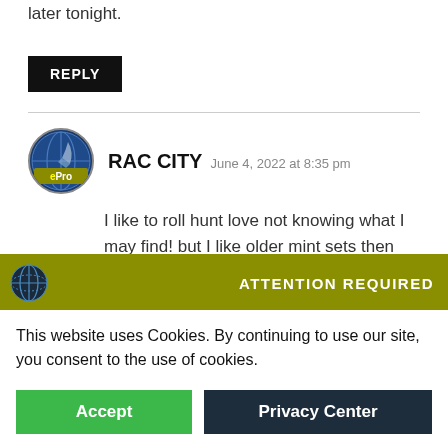later tonight.
REPLY
RAC CITY   June 4, 2022 at 8:35 pm
I like to roll hunt love not knowing what I may find! but I like older mint sets then paper money! thanks J&B
ATTENTION REQUIRED
This website uses Cookies. By continuing to use our site, you consent to the use of cookies.
Accept
Privacy Center
Love them Mint sets 🤠